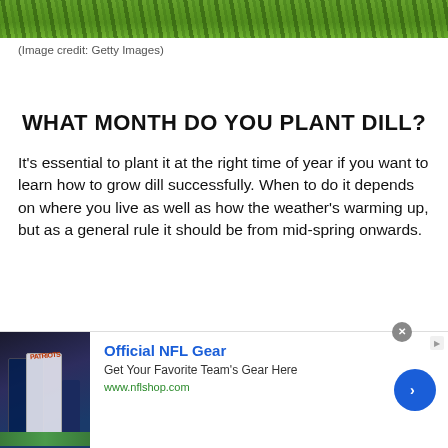[Figure (photo): Close-up photo of green dill plant foliage]
(Image credit: Getty Images)
WHAT MONTH DO YOU PLANT DILL?
It's essential to plant it at the right time of year if you want to learn how to grow dill successfully. When to do it depends on where you live as well as how the weather's warming up, but as a general rule it should be from mid-spring onwards.
[Figure (illustration): Advertisement banner: Official NFL Gear — Get Your Favorite Team's Gear Here — www.nflshop.com, with NFL jerseys image and blue arrow button]